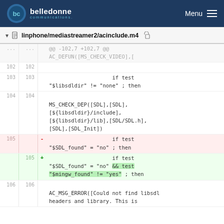belledonne communications — Menu
linphone/mediastreamer2/acinclude.m4
[Figure (screenshot): Git diff view showing changes to linphone/mediastreamer2/acinclude.m4. Lines 102-106 shown. Line 105 removed: 'if test "$SDL_found" = "no" ; then'. Line 105 added: 'if test "$SDL_found" = "no" && test "$mingw_found" != "yes" ; then'. Context includes MS_CHECK_DEP and AC_MSG_ERROR calls.]